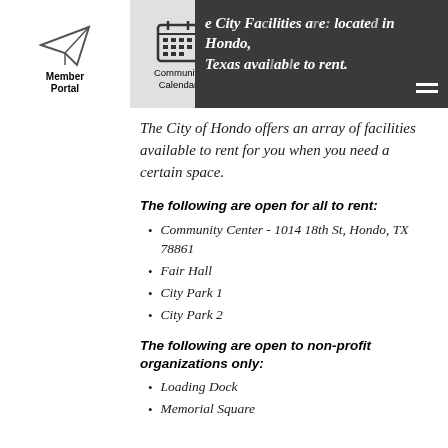The City Facilities are located in Hondo, Texas available to rent.
The City of Hondo offers an array of facilities available to rent for you when you need a certain space.
The following are open for all to rent:
Community Center - 1014 18th St, Hondo, TX 78861
Fair Hall
City Park 1
City Park 2
The following are open to non-profit organizations only:
Loading Dock
Memorial Square